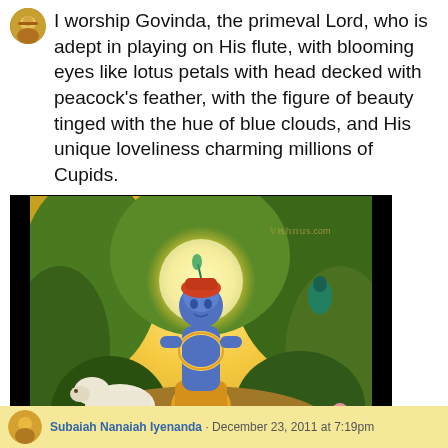I worship Govinda, the primeval Lord, who is adept in playing on His flute, with blooming eyes like lotus petals with head decked with peacock's feather, with the figure of beauty tinged with the hue of blue clouds, and His unique loveliness charming millions of Cupids.
[Figure (illustration): Indian religious painting of Lord Krishna (Govinda) as a young blue-skinned deity seated on a rock in a lush forest garden, wearing golden garments and floral garlands, surrounded by two white calves and pink lotus flowers, with peacocks visible in the background and a golden radiant halo around his head. Watermark visible in upper right area.]
Subaiah Nanaiah Iyenanda · December 23, 2011 at 7:19pm